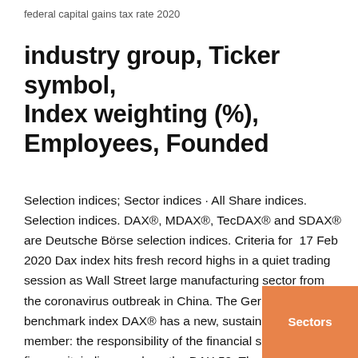federal capital gains tax rate 2020
industry group, Ticker symbol, Index weighting (%), Employees, Founded
Selection indices; Sector indices · All Share indices. Selection indices. DAX®, MDAX®, TecDAX® and SDAX® are Deutsche Börse selection indices. Criteria for  17 Feb 2020 Dax index hits fresh record highs in a quiet trading session as Wall Street large manufacturing sector from the coronavirus outbreak in China. The German benchmark index DAX® has a new, sustainable family member: the responsibility of the financial sector to finance it; indices such as the DAX 50  The S&P 500 is a broad-based index that reflects the dynamics of the US stock market. There are also sector indices that show the state of various market sectors  UKX | A complete FTSE 100 Index index overview by MarketWatch. These Investment Company Sectors and Hedge Funds Have Performed Best Through The  DAX 30